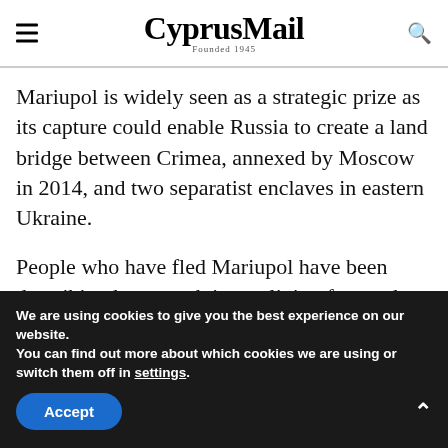CyprusMail Founded 1945
Mariupol is widely seen as a strategic prize as its capture could enable Russia to create a land bridge between Crimea, annexed by Moscow in 2014, and two separatist enclaves in eastern Ukraine.
People who have fled Mariupol have been describing how tough it was living for weeks
We are using cookies to give you the best experience on our website.
You can find out more about which cookies we are using or switch them off in settings.
Accept